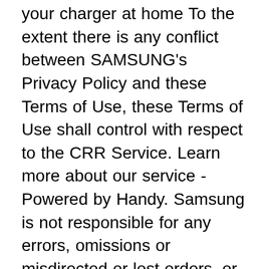your charger at home To the extent there is any conflict between SAMSUNG's Privacy Policy and these Terms of Use, these Terms of Use shall control with respect to the CRR Service. Learn more about our service - Powered by Handy. Samsung is not responsible for any errors, omissions or misdirected or lost orders, or orders which may be delayed. The LTE connectivity will exclusively be accessible through Verizon. Copyright© 1995-2020 SAMSUNG All Rights Reserved. Are you sure to remove this product? Connect to your TV with Smart View Important: Make sure your ... Double check the address...just to make sure! Here's how to enable, disable or modify the PIN associated with the SIM card for your Windows 10 device. In accordance with applicable law, SAMSUNG reserves the right to change, condense or delete any